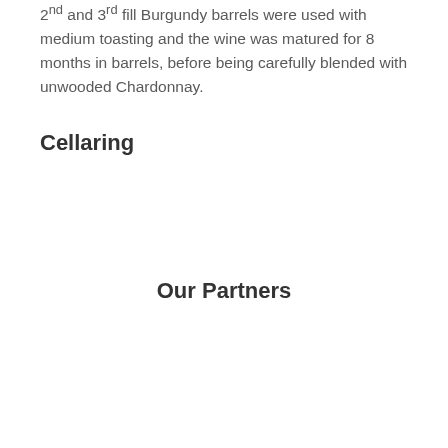2nd and 3rd fill Burgundy barrels were used with medium toasting and the wine was matured for 8 months in barrels, before being carefully blended with unwooded Chardonnay.
Cellaring
Our Partners